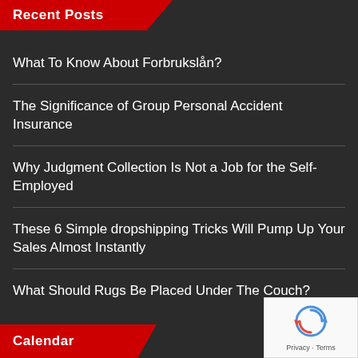Recent Posts
What To Know About Forbrukslån?
The Significance of Group Personal Accident Insurance
Why Judgment Collection Is Not a Job for the Self-Employed
These 6 Simple dropshipping Tricks Will Pump Up Your Sales Almost Instantly
What Should Rugs Be Placed Under The Couch?
Calendar
[Figure (logo): reCAPTCHA badge with circular arrow logo and 'Privacy - Terms' text]